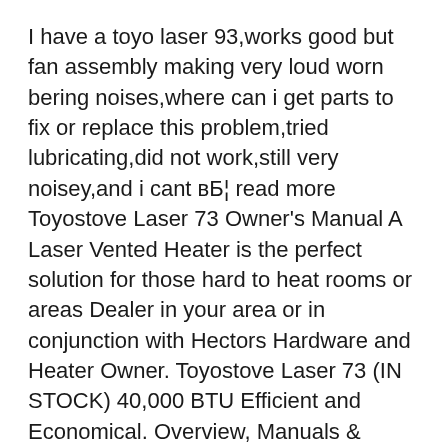I have a toyo laser 93,works good but fan assembly making very loud worn bering noises,where can i get parts to fix or replace this problem,tried lubricating,did not work,still very noisey,and i cant вБ¦ read more Toyostove Laser 73 Owner's Manual A Laser Vented Heater is the perfect solution for those hard to heat rooms or areas Dealer in your area or in conjunction with Hectors Hardware and Heater Owner. Toyostove Laser 73 (IN STOCK) 40,000 BTU Efficient and Economical. Overview, Manuals & Docs, Technical Specs, Info & Links. Overview.
Dec 30, 2014В В· Read the disclaimer at the bottom before doing something stupid! If you don't read and understand the English language, stop to do more. There are some more STOP!